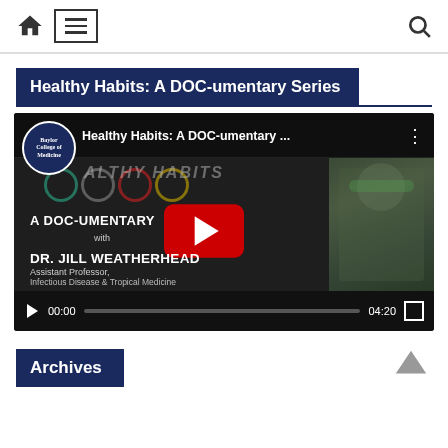Navigation bar with home icon, menu icon, and search icon
Healthy Habits: A DOC-umentary Series
[Figure (screenshot): YouTube video player showing 'Healthy Habits: A DOC-umentary ...' with Baylor College of Medicine logo, A DOC-UMENTARY series branding, DR. JILL WEATHERHEAD Assistant Professor, Infectious Disease & Tropical Medicine. Video controls show 00:00 / 04:20.]
Archives